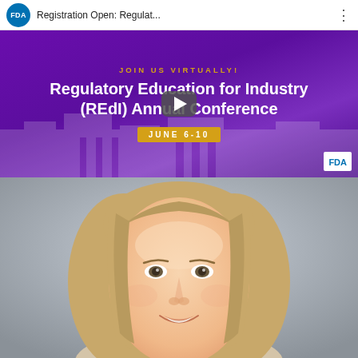[Figure (screenshot): YouTube video thumbnail for FDA registration open event. Top bar shows FDA logo circle and title 'Registration Open: Regulat...' with three-dot menu. Video thumbnail shows purple background with text 'JOIN US VIRTUALLY!' in gold, 'Regulatory Education for Industry (REdI) Annual Conference' in white bold, 'JUNE 6-10' in gold badge, play button in center, and FDA logo watermark bottom right.]
[Figure (photo): Headshot/portrait photo of a blonde woman smiling, with gray/blue background. Close-up facial shot showing a middle-aged woman with straight blonde hair, light complexion, and a warm smile.]